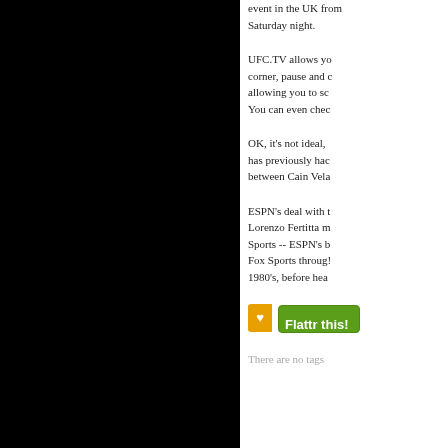event in the UK from Saturday night.
UFC.TV allows yo... corner, pause and ... allowing you to sc... You can even che...
OK, it's not ideal, ... has previously ha... between Cain Vela...
ESPN's deal with ... Lorenzo Fertitta m... Sports -- ESPN's b... Fox Sports throug... 1980's, before hea...
[Figure (screenshot): Flattr this! button with orange icon and green background]
There are no tags